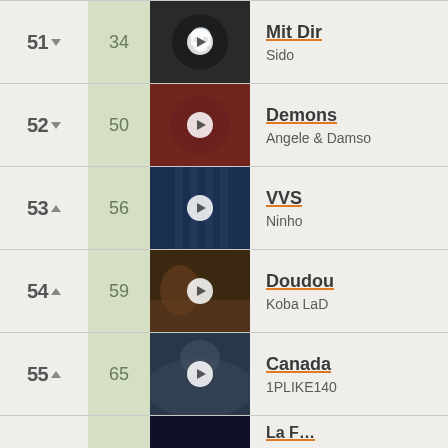51 ▼  34  Mit Dir – Sido
52 ▼  50  Demons – Angele & Damso
53 ▲  56  VVS – Ninho
54 ▲  59  Doudou – Koba LaD
55 ▲  65  Canada – 1PLIKE140
56  ...  La F...